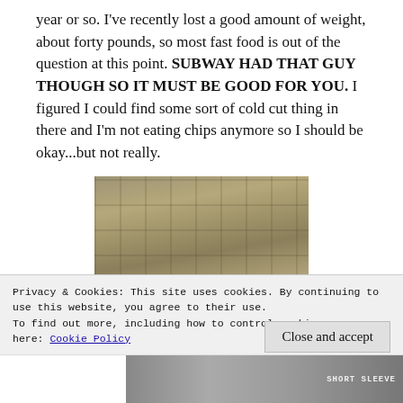year or so. I've recently lost a good amount of weight, about forty pounds, so most fast food is out of the question at this point. SUBWAY HAD THAT GUY THOUGH SO IT MUST BE GOOD FOR YOU. I figured I could find some sort of cold cut thing in there and I'm not eating chips anymore so I should be okay...but not really.
[Figure (photo): Photo of clothing items hanging on a metal rack/shelving unit in a store, items appear to be olive/khaki colored garments with yellow price tags visible]
Privacy & Cookies: This site uses cookies. By continuing to use this website, you agree to their use.
To find out more, including how to control cookies, see here: Cookie Policy
Close and accept
[Figure (photo): Partial bottom strip showing another photo with text SHORT SLEEVE visible]